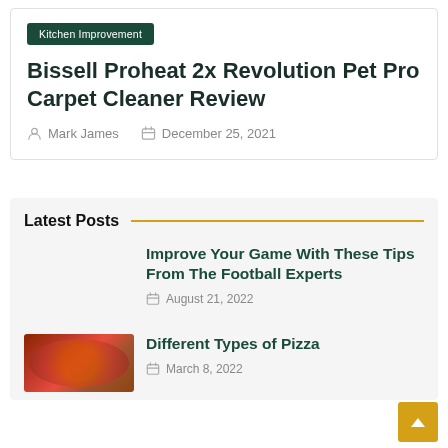Kitchen Improvement
Bissell Proheat 2x Revolution Pet Pro Carpet Cleaner Review
Mark James  December 25, 2021
Latest Posts
Improve Your Game With These Tips From The Football Experts
August 21, 2022
[Figure (photo): Pizza photo]
Different Types of Pizza